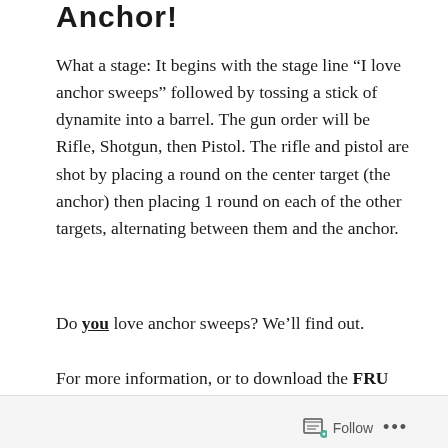Anchor!
What a stage: It begins with the stage line “I love anchor sweeps” followed by tossing a stick of dynamite into a barrel. The gun order will be Rifle, Shotgun, then Pistol. The rifle and pistol are shot by placing a round on the center target (the anchor) then placing 1 round on each of the other targets, alternating between them and the anchor.
Do you love anchor sweeps? We’ll find out.
For more information, or to download the FRU 2022 Registration Form, click here.
Follow ...